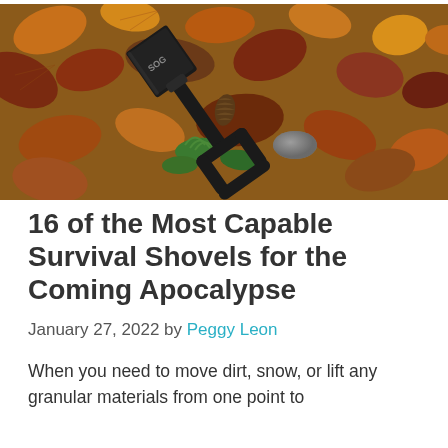[Figure (photo): A black folding survival shovel lying on a bed of autumn leaves in various shades of orange, brown, and red, with some green moss and a grey rock visible beneath it. The shovel has a D-ring handle and a label reading 'SOG'.]
16 of the Most Capable Survival Shovels for the Coming Apocalypse
January 27, 2022 by Peggy Leon
When you need to move dirt, snow, or lift any granular materials from one point to